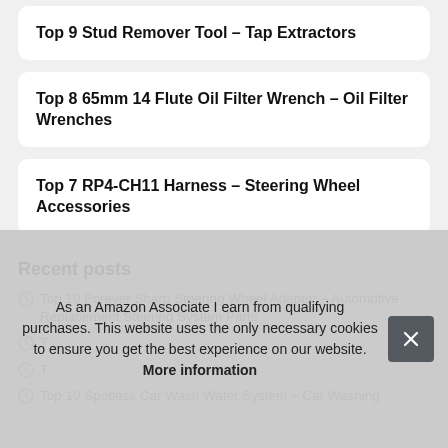Top 9 Stud Remover Tool – Tap Extractors
Top 8 65mm 14 Flute Oil Filter Wrench – Oil Filter Wrenches
Top 7 RP4-CH11 Harness – Steering Wheel Accessories
Recent posts
Top 10 Forever Sharp Steering Wheel Adapter – Automotive Replacement Steering System Parts
T…
T…
Top 10 Spotless Car Wash Water System – Car Washing
As an Amazon Associate I earn from qualifying purchases. This website uses the only necessary cookies to ensure you get the best experience on our website. More information